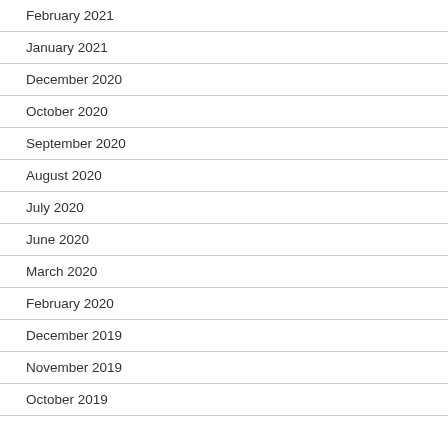February 2021
January 2021
December 2020
October 2020
September 2020
August 2020
July 2020
June 2020
March 2020
February 2020
December 2019
November 2019
October 2019